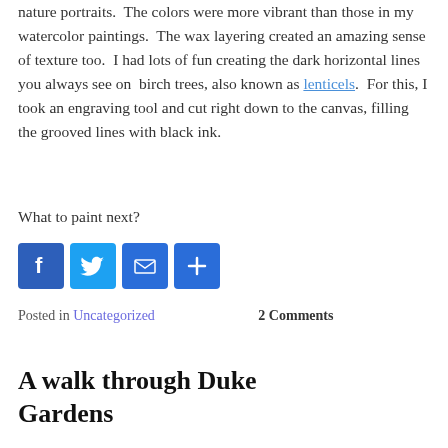nature portraits.  The colors were more vibrant than those in my watercolor paintings.  The wax layering created an amazing sense of texture too.  I had lots of fun creating the dark horizontal lines you always see on  birch trees, also known as lenticels.  For this, I took an engraving tool and cut right down to the canvas, filling the grooved lines with black ink.
What to paint next?
[Figure (other): Social sharing icons: Facebook (blue), Twitter (light blue), Email (blue envelope), Share/More (blue plus)]
Posted in Uncategorized   2 Comments
A walk through Duke Gardens